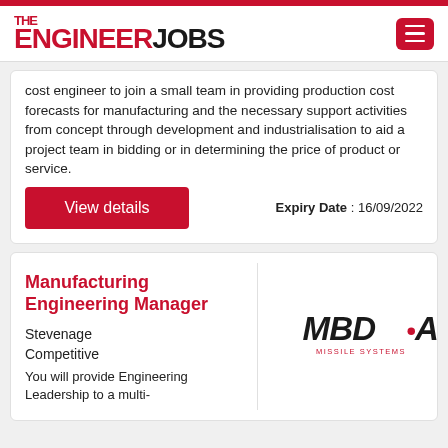THE ENGINEER JOBS
cost engineer to join a small team in providing production cost forecasts for manufacturing and the necessary support activities from concept through development and industrialisation to aid a project team in bidding or in determining the price of product or service.
Expiry Date : 16/09/2022
View details
Manufacturing Engineering Manager
Stevenage
Competitive
[Figure (logo): MBDA Missile Systems logo — italic bold black MBDA with red dot, subtitle MISSILE SYSTEMS in red small caps]
You will provide Engineering Leadership to a multi-